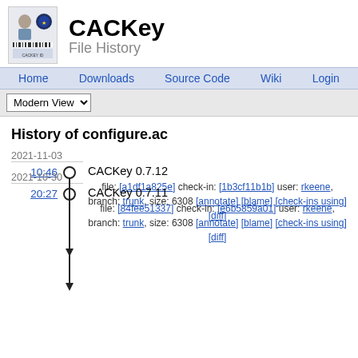CACKey File History
Home | Downloads | Source Code | Wiki | Login
Modern View
History of configure.ac
2021-11-03
10:46
CACKey 0.7.12
file: [a1df1a825e] check-in: [1b3cf11b1b] user: rkeene, branch: trunk, size: 6308 [annotate] [blame] [check-ins using] [diff]
2021-10-30
20:27
CACKey 0.7.11
file: [84fee51337] check-in: [e6b5859a01] user: rkeene, branch: trunk, size: 6308 [annotate] [blame] [check-ins using] [diff]